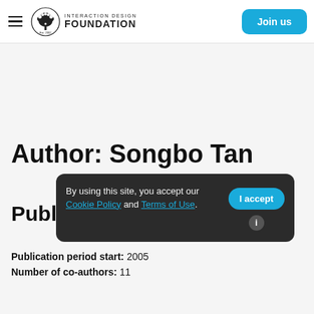Interaction Design Foundation — Join us
Author: Songbo Tan
Publ…
Publication period start: 2005
Number of co-authors: 11
By using this site, you accept our Cookie Policy and Terms of Use.